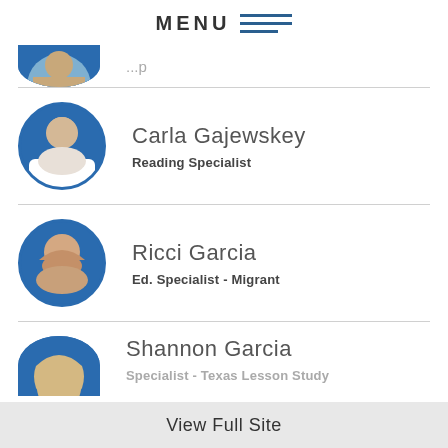MENU
[Figure (photo): Partially visible circular avatar photo at the top of the list, cropped]
Carla Gajewskey
Reading Specialist
Ricci Garcia
Ed. Specialist - Migrant
Shannon Garcia
Specialist - Texas Lesson Study
View Full Site